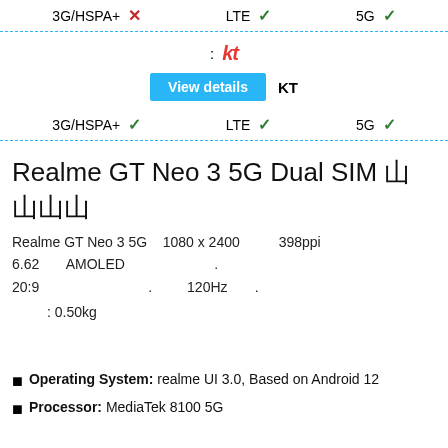3G/HSPA+ ✗   LTE ✓   5G ✓
: kt
View details   KT
3G/HSPA+ ✓   LTE ✓   5G ✓
Realme GT Neo 3 5G Dual SIM
Realme GT Neo 3 5G   1080 x 2400   398ppi
6.62   AMOLED   .
20:9   .   120Hz   .
: 0.50kg
Operating System: realme UI 3.0, Based on Android 12
Processor: MediaTek 8100 5G